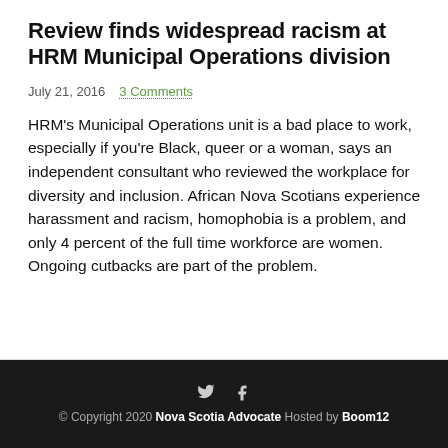Review finds widespread racism at HRM Municipal Operations division
July 21, 2016    3 Comments
HRM's Municipal Operations unit is a bad place to work, especially if you're Black, queer or a woman, says an independent consultant who reviewed the workplace for diversity and inclusion. African Nova Scotians experience harassment and racism, homophobia is a problem, and only 4 percent of the full time workforce are women. Ongoing cutbacks are part of the problem.
© Copyright 2020 Nova Scotia Advocate Hosted by Boom12